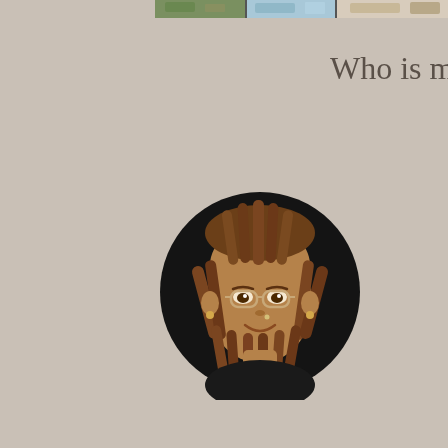[Figure (photo): Top strip of partially visible photos/images at the very top of the page]
Who is mecke
[Figure (illustration): Circular avatar/memoji of a person with dreadlocks, glasses, and brown skin on a black circular background]
Welcome to Travel W
I am a queer, southe trying to make sense committed to starti Things I value most food, conscious con hurts, Netflix docum health and healing i